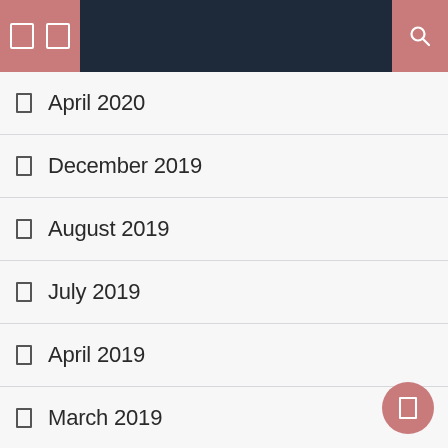Navigation bar with menu and search icons
April 2020
December 2019
August 2019
July 2019
April 2019
March 2019
January 2019
December 2018
November 2018
October 2018